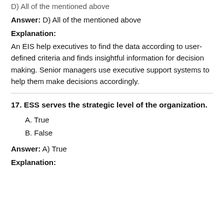D) All of the mentioned above
Answer: D) All of the mentioned above
Explanation:
An EIS help executives to find the data according to user-defined criteria and finds insightful information for decision making. Senior managers use executive support systems to help them make decisions accordingly.
17. ESS serves the strategic level of the organization.
A. True
B. False
Answer: A) True
Explanation: